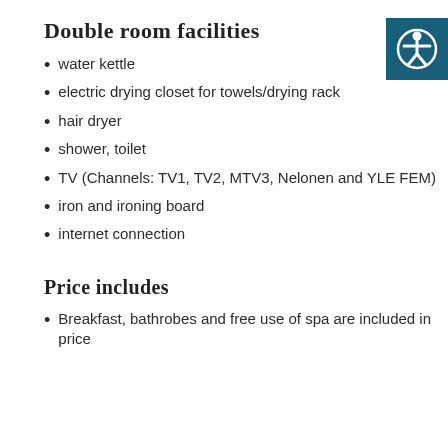Double room facilities
water kettle
electric drying closet for towels/drying rack
hair dryer
shower, toilet
TV (Channels: TV1, TV2, MTV3, Nelonen and YLE FEM)
iron and ironing board
internet connection
Price includes
Breakfast, bathrobes and free use of spa are included in price
[Figure (illustration): Accessibility icon: a white figure with arms spread on a dark teal square background]